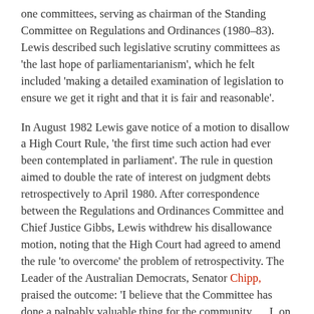one committees, serving as chairman of the Standing Committee on Regulations and Ordinances (1980–83). Lewis described such legislative scrutiny committees as 'the last hope of parliamentarianism', which he felt included 'making a detailed examination of legislation to ensure we get it right and that it is fair and reasonable'.
In August 1982 Lewis gave notice of a motion to disallow a High Court Rule, 'the first time such action had ever been contemplated in parliament'. The rule in question aimed to double the rate of interest on judgment debts retrospectively to April 1980. After correspondence between the Regulations and Ordinances Committee and Chief Justice Gibbs, Lewis withdrew his disallowance motion, noting that the High Court had agreed to amend the rule 'to overcome' the problem of retrospectivity. The Leader of the Australian Democrats, Senator Chipp, praised the outcome: 'I believe that the Committee has done a palpably valuable thing for the community … I, on behalf of my party, pay a great tribute to Senator Lewis and … his Committee for the work they have done in this instance'.
During Lewis' chairmanship the Regulations and Ordinances Committee also examined delegated legislation designed to limit demonstrations at the ANZAC Day march in Canberra.